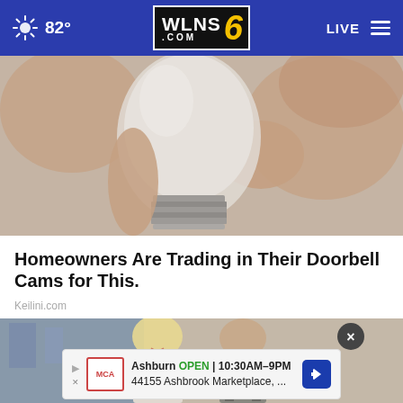82° WLNS 6 .COM LIVE
[Figure (photo): Close-up photo of a hand holding a light bulb, showing the metal base/screw threads of the bulb against a soft background.]
Homeowners Are Trading in Their Doorbell Cams for This.
Keilini.com
[Figure (photo): Photo of a blonde woman and a man in a suit smiling together at what appears to be a formal event or indoors setting.]
Ashburn OPEN 10:30AM–9PM 44155 Ashbrook Marketplace, ...